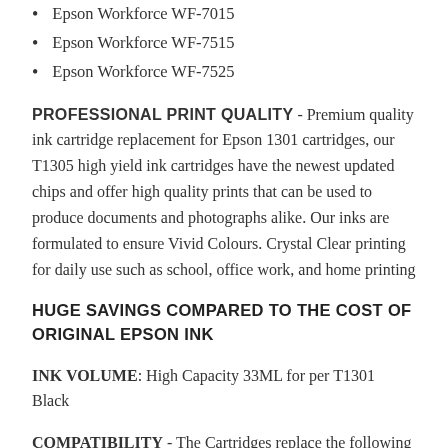Epson Workforce WF-7015
Epson Workforce WF-7515
Epson Workforce WF-7525
PROFESSIONAL PRINT QUALITY - Premium quality ink cartridge replacement for Epson 1301 cartridges, our T1305 high yield ink cartridges have the newest updated chips and offer high quality prints that can be used to produce documents and photographs alike. Our inks are formulated to ensure Vivid Colours. Crystal Clear printing for daily use such as school, office work, and home printing
HUGE SAVINGS COMPARED TO THE COST OF ORIGINAL EPSON INK
INK VOLUME: High Capacity 33ML for per T1301 Black
COMPATIBILITY - The Cartridges replace the following Epson Cartridges T1301 and fit the following printers Epson Stylus